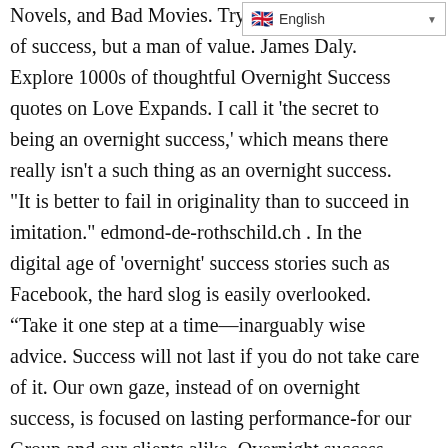[Figure (screenshot): Language selector dropdown showing English with UK flag icon]
Novels, and Bad Movies. Try of success, but a man of value. James Daly. Explore 1000s of thoughtful Overnight Success quotes on Love Expands. I call it 'the secret to being an overnight success,' which means there really isn't a such thing as an overnight success. "It is better to fail in originality than to succeed in imitation." edmond-de-rothschild.ch . In the digital age of 'overnight' success stories such as Facebook, the hard slog is easily overlooked. “Take it one step at a time—inarguably wise advice. Success will not last if you do not take care of it. Our own gaze, instead of on overnight success, is focused on lasting performance-for our Group and our clients alike. Overnight success-Biz Stone Quote. It is preceded by a great deal of preparation. I always help in any way I can, even if it's just by signing an autograph. Everything valuable takes time, there are no overnight